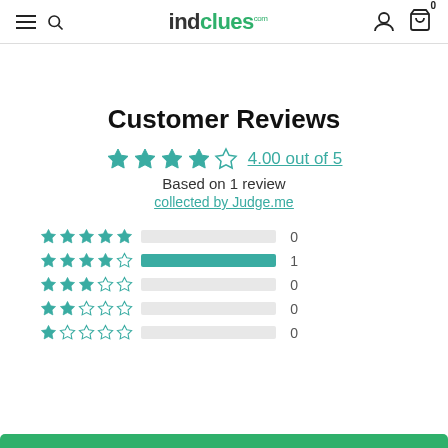indclues.com
Customer Reviews
4.00 out of 5
Based on 1 review
collected by Judge.me
[Figure (bar-chart): Rating breakdown]